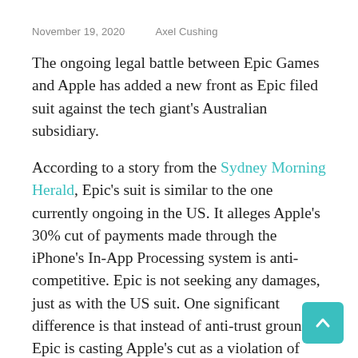November 19, 2020   Axel Cushing
The ongoing legal battle between Epic Games and Apple has added a new front as Epic filed suit against the tech giant's Australian subsidiary.
According to a story from the Sydney Morning Herald, Epic's suit is similar to the one currently ongoing in the US. It alleges Apple's 30% cut of payments made through the iPhone's In-App Processing system is anti-competitive. Epic is not seeking any damages, just as with the US suit. One significant difference is that instead of anti-trust grounds, Epic is casting Apple's cut as a violation of Australian consumer laws.
“It’s another set of laws under which Apple’s practices are clearly in violation.